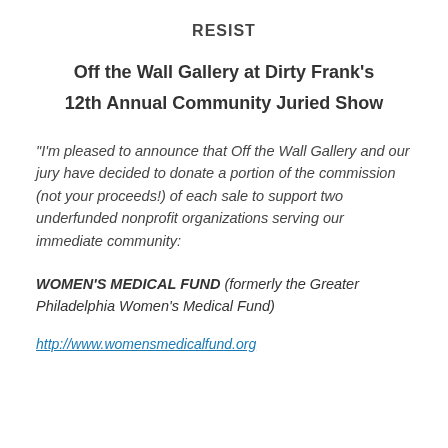RESIST
Off the Wall Gallery at Dirty Frank's
12th Annual Community Juried Show
“I’m pleased to announce that Off the Wall Gallery and our jury have decided to donate a portion of the commission (not your proceeds!) of each sale to support two underfunded nonprofit organizations serving our immediate community:
WOMEN’S MEDICAL FUND (formerly the Greater Philadelphia Women’s Medical Fund)
http://www.womensmedicalfund.org